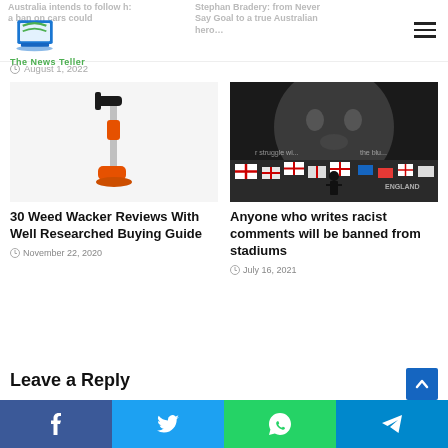[Figure (logo): The News Teller logo — laptop icon with green/blue colors and text 'The News Teller']
Australia intends to follow h: a ban on cars could
Stephan Bradery: from Never Say Goal to a true Australian hero…
August 1, 2022
[Figure (photo): Orange and silver weed wacker / string trimmer garden tool on white background]
30 Weed Wacker Reviews With Well Researched Buying Guide
November 22, 2020
[Figure (photo): Large mural of Marcus Rashford with England flags and tributes around it, person standing in front]
Anyone who writes racist comments will be banned from stadiums
July 16, 2021
Leave a Reply